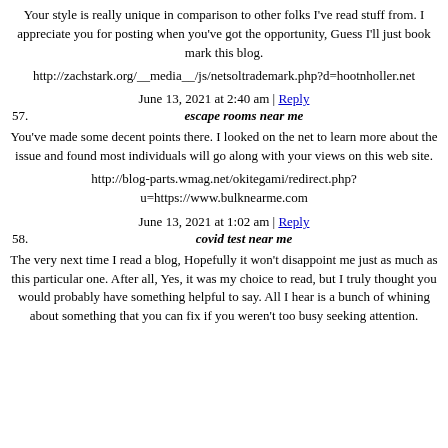Your style is really unique in comparison to other folks I've read stuff from. I appreciate you for posting when you've got the opportunity, Guess I'll just book mark this blog.
http://zachstark.org/__media__/js/netsoltrademark.php?d=hootnholler.net
June 13, 2021 at 2:40 am | Reply
57.   escape rooms near me
You've made some decent points there. I looked on the net to learn more about the issue and found most individuals will go along with your views on this web site.
http://blog-parts.wmag.net/okitegami/redirect.php?u=https://www.bulknearme.com
June 13, 2021 at 1:02 am | Reply
58.   covid test near me
The very next time I read a blog, Hopefully it won't disappoint me just as much as this particular one. After all, Yes, it was my choice to read, but I truly thought you would probably have something helpful to say. All I hear is a bunch of whining about something that you can fix if you weren't too busy seeking attention.